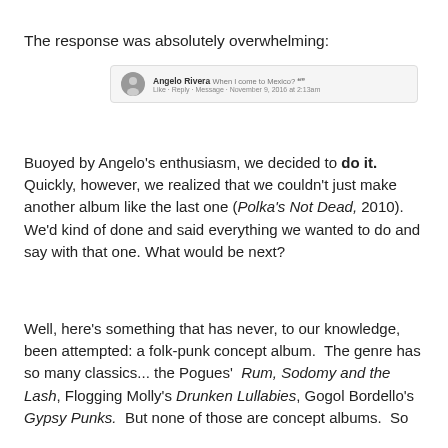The response was absolutely overwhelming:
[Figure (screenshot): A Facebook comment screenshot showing Angelo Rivera commenting, with Like, Reply, Message options and a timestamp of November 9, 2016 at 2:13am]
Buoyed by Angelo's enthusiasm, we decided to do it. Quickly, however, we realized that we couldn't just make another album like the last one (Polka's Not Dead, 2010). We'd kind of done and said everything we wanted to do and say with that one. What would be next?
Well, here's something that has never, to our knowledge, been attempted: a folk-punk concept album.  The genre has so many classics... the Pogues'  Rum, Sodomy and the Lash, Flogging Molly's Drunken Lullabies, Gogol Bordello's Gypsy Punks.  But none of those are concept albums.  So